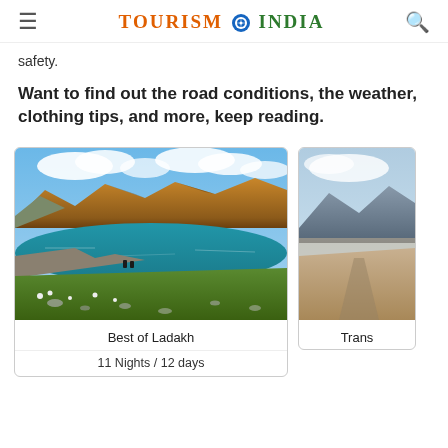TOURISM OF INDIA
safety.
Want to find out the road conditions, the weather, clothing tips, and more, keep reading.
[Figure (photo): Pangong Lake, Ladakh – turquoise lake with golden/brown mountains behind, green meadow and sheep in foreground under a blue sky with clouds]
Best of Ladakh
11 Nights / 12 days
[Figure (photo): Mountainous desert landscape, partially cropped on right side of page]
Trans